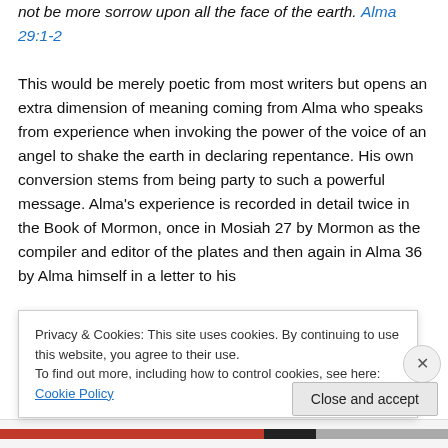not be more sorrow upon all the face of the earth. Alma 29:1-2
This would be merely poetic from most writers but opens an extra dimension of meaning coming from Alma who speaks from experience when invoking the power of the voice of an angel to shake the earth in declaring repentance. His own conversion stems from being party to such a powerful message. Alma's experience is recorded in detail twice in the Book of Mormon, once in Mosiah 27 by Mormon as the compiler and editor of the plates and then again in Alma 36 by Alma himself in a letter to his
Privacy & Cookies: This site uses cookies. By continuing to use this website, you agree to their use.
To find out more, including how to control cookies, see here: Cookie Policy